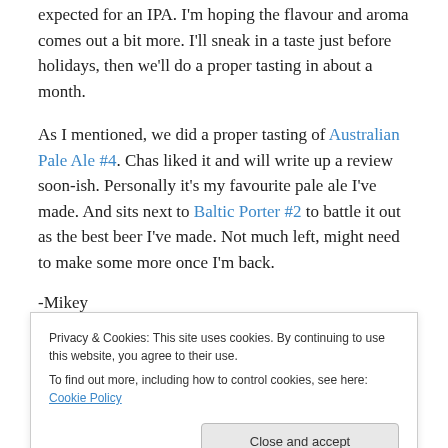expected for an IPA. I'm hoping the flavour and aroma comes out a bit more. I'll sneak in a taste just before holidays, then we'll do a proper tasting in about a month.
As I mentioned, we did a proper tasting of Australian Pale Ale #4. Chas liked it and will write up a review soon-ish. Personally it's my favourite pale ale I've made. And sits next to Baltic Porter #2 to battle it out as the best beer I've made. Not much left, might need to make some more once I'm back.
-Mikey
Privacy & Cookies: This site uses cookies. By continuing to use this website, you agree to their use.
To find out more, including how to control cookies, see here: Cookie Policy
Shopping, Botting, Brewing,